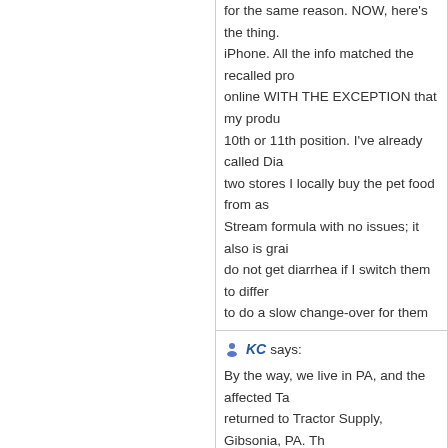for the same reason. NOW, here's the thing. iPhone. All the info matched the recalled pro online WITH THE EXCEPTION that my produ 10th or 11th position. I've already called Dia two stores I locally buy the pet food from as Stream formula with no issues; it also is grai do not get diarrhea if I switch them to differ to do a slow change-over for them to adjust. not all. Nice to know this is a high quality lin and cats. The production code on our affect BEST BEFORE 12 FEB 2013
KC says: By the way, we live in PA, and the affected Ta returned to Tractor Supply, Gibsonia, PA. Th and our refund. Our local Agway is awesome up to look out for a recall. When the re